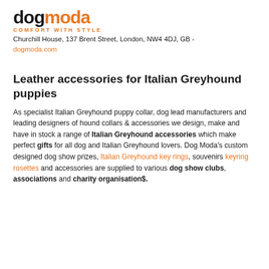[Figure (logo): Dog Moda logo with 'dog' in dark and 'moda' in orange bold text]
COMFORT WITH STYLE
Churchill House, 137 Brent Street, London, NW4 4DJ, GB - dogmoda.com
Leather accessories for Italian Greyhound puppies
As specialist Italian Greyhound puppy collar, dog lead manufacturers and leading designers of hound collars & accessories we design, make and have in stock a range of Italian Greyhound accessories which make perfect gifts for all dog and Italian Greyhound lovers. Dog Moda's custom designed dog show prizes, Italian Greyhound key rings, souvenirs keyring rosettes and accessories are supplied to various dog show clubs, associations and charity organisation$.